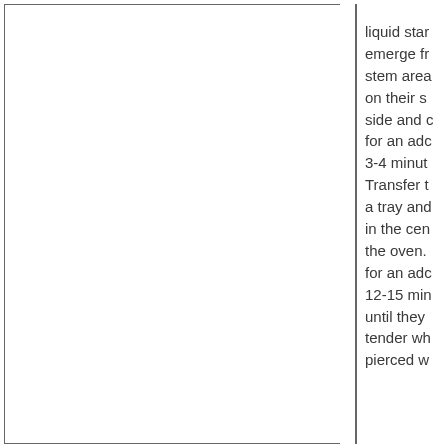liquid star emerge fr stem area on their s side and for an adc 3-4 minut Transfer t a tray an in the cen the oven. for an adc 12-15 min until they tender wh pierced w